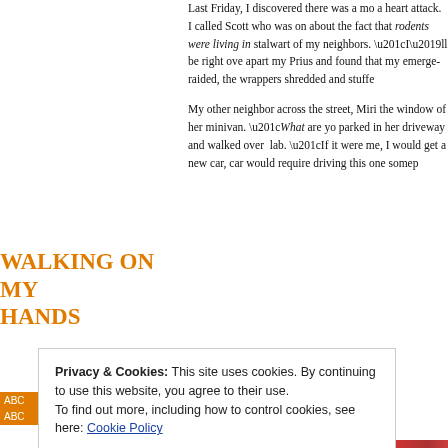Last Friday, I discovered there was a mo... a heart attack. I called Scott who was on... about the fact that rodents were living in... stalwart of my neighbors. “I’ll be right ove... apart my Prius and found that my emerge... raided, the wrappers shredded and stuffe...
My other neighbor across the street, Miri... the window of her minivan. “What are yo... parked in her driveway and walked over ... lab. “If it were me, I would get a new car,”... car would require driving this one somep...
Walking on My Hands
Privacy & Cookies: This site uses cookies. By continuing to use this website, you agree to their use.
To find out more, including how to control cookies, see here: Cookie Policy
Close and accept
Advertisements